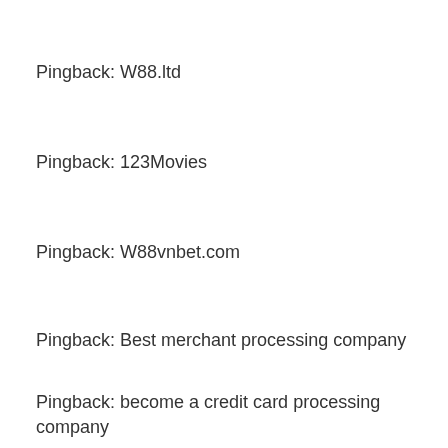Pingback: W88.ltd
Pingback: 123Movies
Pingback: W88vnbet.com
Pingback: Best merchant processing company
Pingback: become a credit card processing company